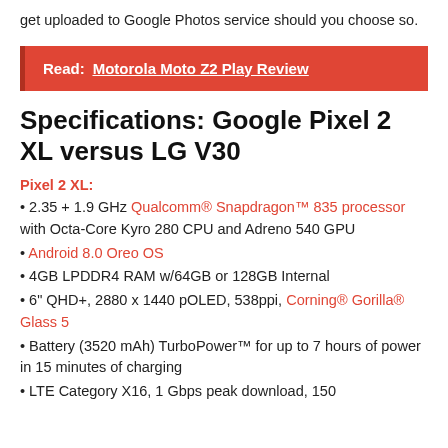get uploaded to Google Photos service should you choose so.
Read:  Motorola Moto Z2 Play Review
Specifications: Google Pixel 2 XL versus LG V30
Pixel 2 XL:
• 2.35 + 1.9 GHz Qualcomm® Snapdragon™ 835 processor with Octa-Core Kyro 280 CPU and Adreno 540 GPU
• Android 8.0 Oreo OS
• 4GB LPDDR4 RAM w/64GB or 128GB Internal
• 6" QHD+, 2880 x 1440 pOLED, 538ppi, Corning® Gorilla® Glass 5
• Battery (3520 mAh) TurboPower™ for up to 7 hours of power in 15 minutes of charging
• LTE Category X16, 1 Gbps peak download, 150